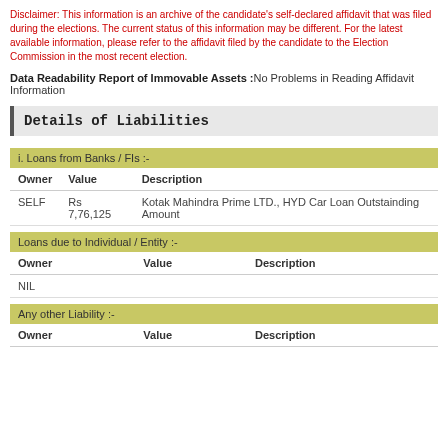Disclaimer: This information is an archive of the candidate's self-declared affidavit that was filed during the elections. The current status of this information may be different. For the latest available information, please refer to the affidavit filed by the candidate to the Election Commission in the most recent election.
Data Readability Report of Immovable Assets :No Problems in Reading Affidavit Information
Details of Liabilities
| Owner | Value | Description |
| --- | --- | --- |
| SELF | Rs 7,76,125 | Kotak Mahindra Prime LTD., HYD Car Loan Outstainding Amount |
| Owner | Value | Description |
| --- | --- | --- |
| NIL |  |  |
| Owner | Value | Description |
| --- | --- | --- |